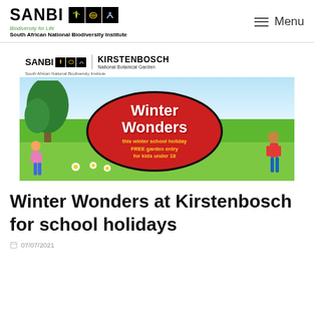SANBI | South African National Biodiversity Institute | Menu
[Figure (illustration): Winter Wonders at Kirstenbosch banner image with cartoon children playing in a garden, SANBI and Kirstenbosch National Botanical Garden logos at top, large red oval with 'Winter Wonders' text, subtitle: this winter school holiday FREE garden entry for kids under 18]
Winter Wonders at Kirstenbosch for school holidays
07/07/2021